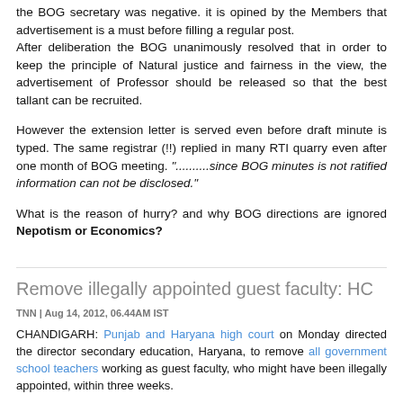the BOG secretary was negative. it is opined by the Members that advertisement is a must before filling a regular post. After deliberation the BOG unanimously resolved that in order to keep the principle of Natural justice and fairness in the view, the advertisement of Professor should be released so that the best tallant can be recruited.
However the extension letter is served even before draft minute is typed. The same registrar (!!) replied in many RTI quarry even after one month of BOG meeting. "..........since BOG minutes is not ratified information can not be disclosed."
What is the reason of hurry? and why BOG directions are ignored Nepotism or Economics?
Remove illegally appointed guest faculty: HC
TNN | Aug 14, 2012, 06.44AM IST
CHANDIGARH: Punjab and Haryana high court on Monday directed the director secondary education, Haryana, to remove all government school teachers working as guest faculty, who might have been illegally appointed, within three weeks.